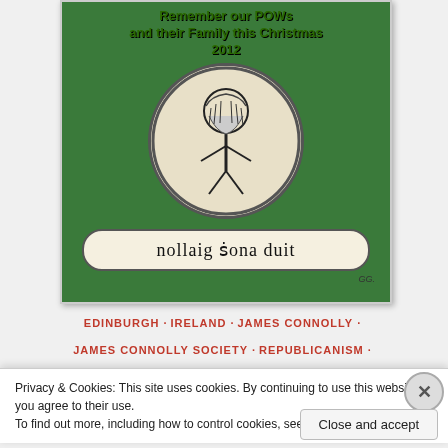[Figure (photo): Green Christmas card with text 'Remember our POWs and their Family this Christmas 2012', a circular black and white illustration of a figure, and Irish text 'nollaig sona duit' in a banner. Signed GG.]
EDINBURGH · IRELAND · JAMES CONNOLLY · JAMES CONNOLLY SOCIETY · REPUBLICANISM · SCOTLAND · SOCIALISM
Privacy & Cookies: This site uses cookies. By continuing to use this website, you agree to their use.
To find out more, including how to control cookies, see here: Cookie Policy
Close and accept